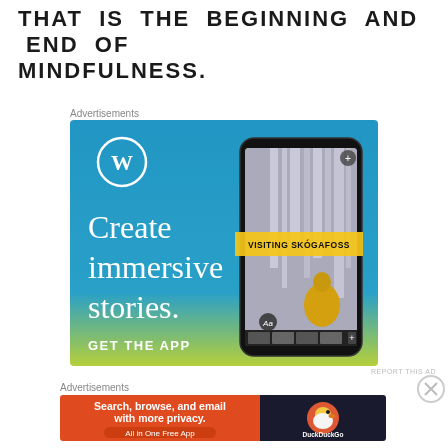that is the beginning and end of MINDFULNESS.
Advertisements
[Figure (illustration): WordPress advertisement: blue-to-yellow gradient background, WordPress logo (W in circle), text 'Create immersive stories.' and 'GET THE APP', with a phone showing a waterfall scene labeled 'VISITING SKÓGAFOSS']
REPORT THIS AD
Advertisements
[Figure (illustration): DuckDuckGo advertisement: orange background with text 'Search, browse, and email with more privacy. All in One Free App', and DuckDuckGo logo on dark background]